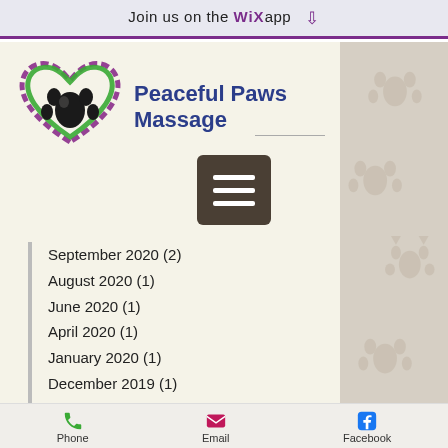Join us on the WiX app ↓
[Figure (logo): Peaceful Paws Massage logo: heart outline in purple and green with a black paw print in the center, and bold navy text reading Peaceful Paws Massage]
[Figure (other): Hamburger menu icon button (dark brown/gray square with three white horizontal lines)]
September 2020 (2)
August 2020 (1)
June 2020 (1)
April 2020 (1)
January 2020 (1)
December 2019 (1)
October 2019 (1)
September 2019 (1)
April 2019 (2)
December 2018 (1)
Phone   Email   Facebook